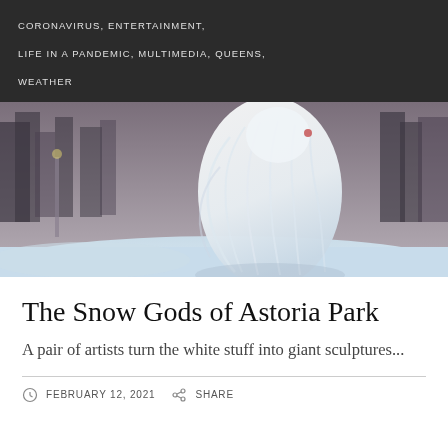CORONAVIRUS, ENTERTAINMENT, LIFE IN A PANDEMIC, MULTIMEDIA, QUEENS, WEATHER
[Figure (photo): A large white snow sculpture resembling a flowing, long-bearded figure or deity in a snowy park setting with trees in the background at dusk.]
The Snow Gods of Astoria Park
A pair of artists turn the white stuff into giant sculptures...
FEBRUARY 12, 2021  SHARE